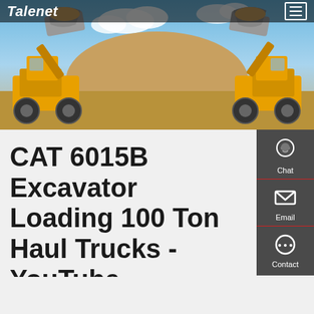Talenet
[Figure (photo): Two yellow CAT wheel loaders facing each other with raised buckets full of earth, parked in front of a large dirt mound under a partly cloudy blue sky.]
CAT 6015B Excavator Loading 100 Ton Haul Trucks - YouTube